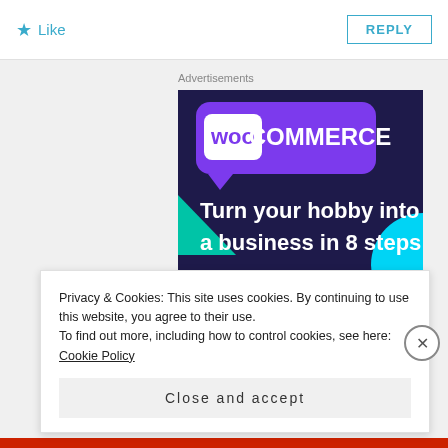★ Like
REPLY
Advertisements
[Figure (illustration): WooCommerce advertisement banner with dark purple background, purple speech-bubble logo with 'WOO COMMERCE' text, green triangle shape on left, cyan arc on right, and white bold text reading 'Turn your hobby into a business in 8 steps']
Privacy & Cookies: This site uses cookies. By continuing to use this website, you agree to their use.
To find out more, including how to control cookies, see here: Cookie Policy
Close and accept